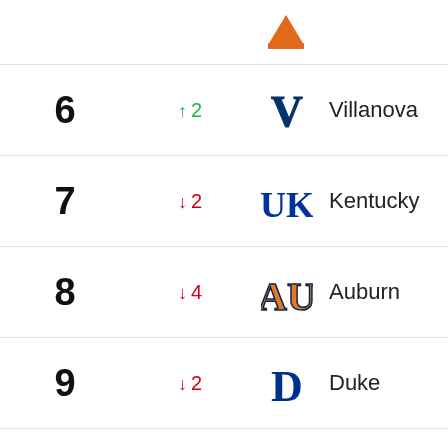| Rank | Change | Team |
| --- | --- | --- |
| 6 | ↑ 2 | Villanova |
| 7 | ↓ 2 | Kentucky |
| 8 | ↓ 4 | Auburn |
| 9 | ↓ 2 | Duke |
| 10 | ↓ 1 | Purdue |
View All